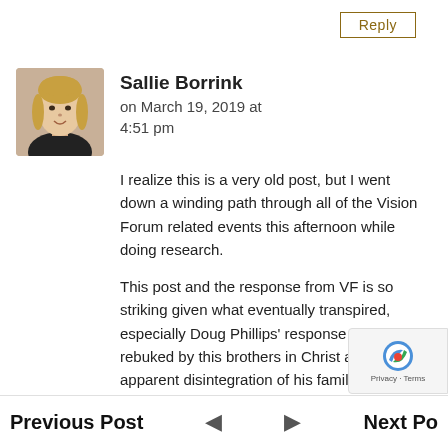Reply
Sallie Borrink on March 19, 2019 at 4:51 pm
I realize this is a very old post, but I went down a winding path through all of the Vision Forum related events this afternoon while doing research.
This post and the response from VF is so striking given what eventually transpired, especially Doug Phillips' response to being rebuked by this brothers in Christ and the apparent disintegration of his family and marriage.
I also can't believe this was all happening ears ago
Previous Post | Next Post